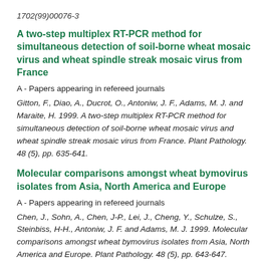1702(99)00076-3
A two-step multiplex RT-PCR method for simultaneous detection of soil-borne wheat mosaic virus and wheat spindle streak mosaic virus from France
A - Papers appearing in refereed journals
Gitton, F., Diao, A., Ducrot, O., Antoniw, J. F., Adams, M. J. and Maraite, H. 1999. A two-step multiplex RT-PCR method for simultaneous detection of soil-borne wheat mosaic virus and wheat spindle streak mosaic virus from France. Plant Pathology. 48 (5), pp. 635-641.
Molecular comparisons amongst wheat bymovirus isolates from Asia, North America and Europe
A - Papers appearing in refereed journals
Chen, J., Sohn, A., Chen, J-P., Lei, J., Cheng, Y., Schulze, S., Steinbiss, H-H., Antoniw, J. F. and Adams, M. J. 1999. Molecular comparisons amongst wheat bymovirus isolates from Asia, North America and Europe. Plant Pathology. 48 (5), pp. 643-647.